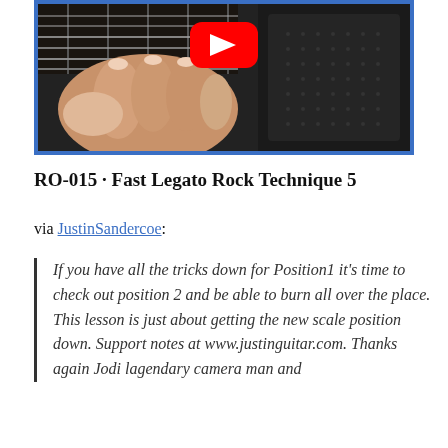[Figure (screenshot): YouTube video thumbnail showing a hand playing guitar on a fretboard, with a red YouTube play button overlay and blue border frame]
RO-015 · Fast Legato Rock Technique 5
via JustinSandercoe:
If you have all the tricks down for Position1 it's time to check out position 2 and be able to burn all over the place. This lesson is just about getting the new scale position down. Support notes at www.justinguitar.com. Thanks again Jodi lagendary camera man and